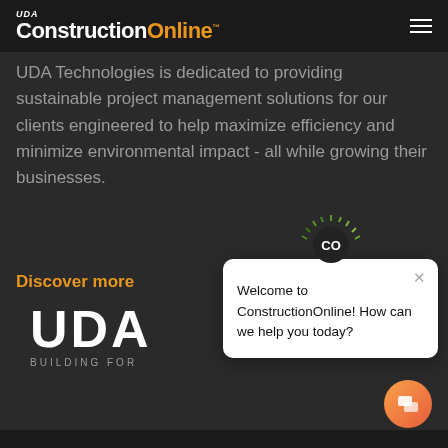UDA ConstructionOnline™
UDA Technologies is dedicated to providing sustainable project management solutions for our clients engineered to help maximize efficiency and minimize environmental impact - all while growing their businesses.
Discover more
[Figure (logo): UDA logo with text 'BUILDING FOR...' below]
[Figure (screenshot): Chat widget popup: ConstructionOnline CO icon with green rays, close X button, text 'Welcome to ConstructionOnline! How can we help you today?']
[Figure (other): Orange/red gradient circular chat button in bottom right]